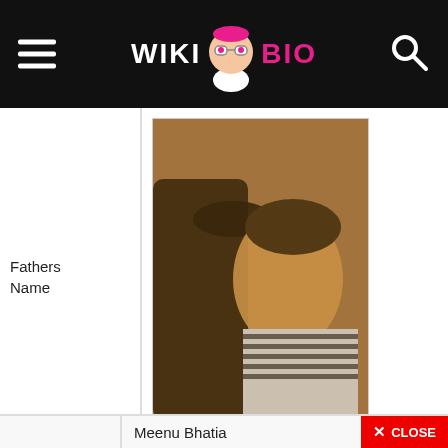WIKI BIO
Fathers Name
[Figure (photo): Photo of Aashika Bhatia with her father, two people posing together in a selfie-style image]
Aashika Bhatia with her father
Meenu Bhatia